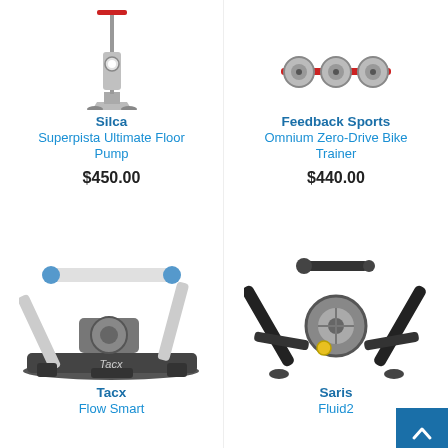[Figure (photo): Silca Superpista Ultimate Floor Pump product photo - tall floor pump with red handle and silver/metal base]
Silca
Superpista Ultimate Floor Pump
$450.00
[Figure (photo): Feedback Sports Omnium Zero-Drive Bike Trainer product photo - red and silver roller trainer]
Feedback Sports
Omnium Zero-Drive Bike Trainer
$440.00
[Figure (photo): Tacx Flow Smart bike trainer product photo - white and grey trainer with Tacx branding]
Tacx
Flow Smart
[Figure (photo): Saris Fluid2 bike trainer product photo - black metal trainer with silver flywheel]
Saris
Fluid2